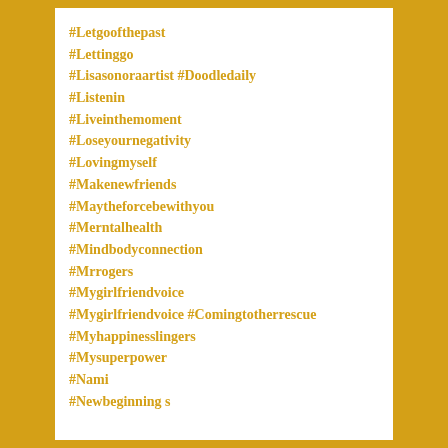#Letgoofthepast
#Lettinggo
#Lisasonoraartist #Doodledaily
#Listenin
#Liveinthemoment
#Loseyournegativity
#Lovingmyself
#Makenewfriends
#Maytheforcebewithyou
#Merntalhealth
#Mindbodyconnection
#Mrrogers
#Mygirlfriendvoice
#Mygirlfriendvoice #Comingtotherrescue
#Myhappinesslingers
#Mysuperpower
#Nami
#Newbeginning s